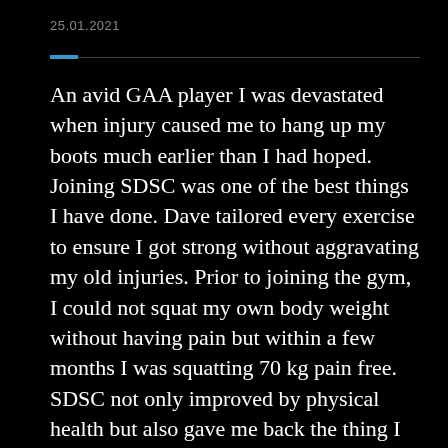25.01.2021
An avid GAA player I was devastated when injury caused me to hang up my boots much earlier than I had hoped. Joining SDSC was one of the best things I have done. Dave tailored every exercise to ensure I got strong without aggravating my old injuries. Prior to joining the gym, I could not squat my own body weight without having pain but within a few months I was squatting 70 kg pain free. SDSC not only improved by physical health but also gave me back the thing I missed most about GAA, that sense of training with your friends and having fun. I had tried joining commercial gyms after I finished GAA